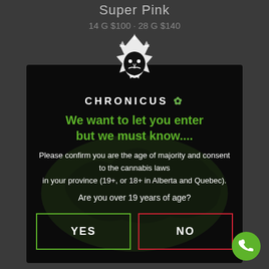Super Pink
14 G $100 · 28 G $140
[Figure (logo): Chronicus logo: stylized wizard/king face in white, with brand name CHRONICUS and a cannabis leaf icon]
We want to let you enter but we must know....
Please confirm you are the age of majority and consent to the cannabis laws in your province (19+, or 18+ in Alberta and Quebec).
Are you over 19 years of age?
YES
NO